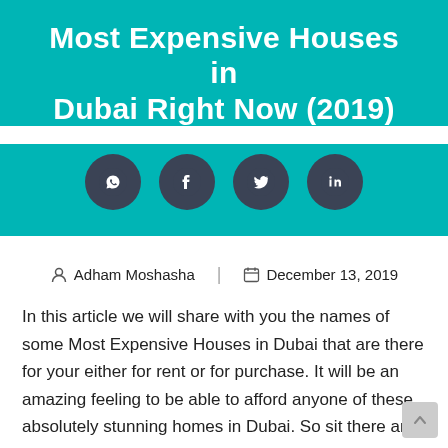Most Expensive Houses in Dubai Right Now (2019)
[Figure (other): Social share buttons: WhatsApp, Facebook, Twitter, LinkedIn — dark circular icons on teal background]
Adham Moshasha   December 13, 2019
In this article we will share with you the names of some Most Expensive Houses in Dubai that are there for your either for rent or for purchase. It will be an amazing feeling to be able to afford anyone of these absolutely stunning homes in Dubai. So sit there and relax and be ready to take a look around some of Dubai's most expensive properties. We